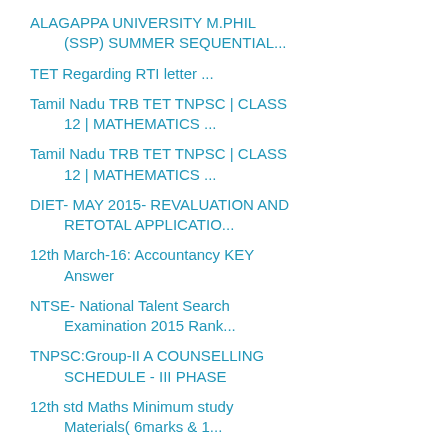ALAGAPPA UNIVERSITY M.PHIL (SSP) SUMMER SEQUENTIAL...
TET Regarding RTI letter ...
Tamil Nadu TRB TET TNPSC | CLASS 12 | MATHEMATICS ...
Tamil Nadu TRB TET TNPSC | CLASS 12 | MATHEMATICS ...
DIET- MAY 2015- REVALUATION AND RETOTAL APPLICATIO...
12th March-16: Accountancy KEY Answer
NTSE- National Talent Search Examination 2015 Rank...
TNPSC:Group-II A COUNSELLING SCHEDULE - III PHASE
12th std Maths Minimum study Materials( 6marks & 1...
12th Public Exam March 2016 Answer Keys Download ...
10th & 12th Public Exam Answer Keys